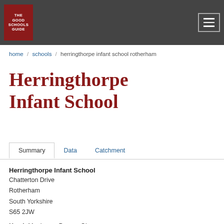The Good Schools Guide
home / schools / herringthorpe infant school rotherham
Herringthorpe Infant School
Summary | Data | Catchment
Herringthorpe Infant School
Chatterton Drive
Rotherham
South Yorkshire
S65 2JW

Head: Mrs Lynne Pepper Obe

T 01709 828959